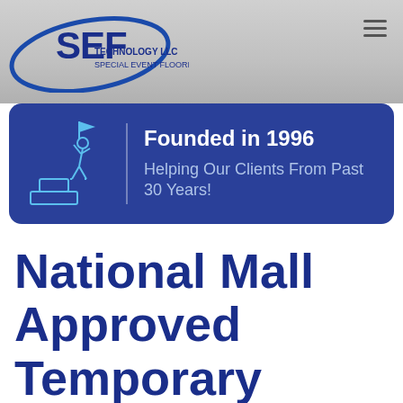[Figure (logo): SEF Technology LLC Special Event Flooring logo with blue swoosh oval]
[Figure (infographic): Blue rounded rectangle banner with climbing figure icon on left and text 'Founded in 1996 / Helping Our Clients From Past 30 Years!' on right]
National Mall Approved Temporary Flooring